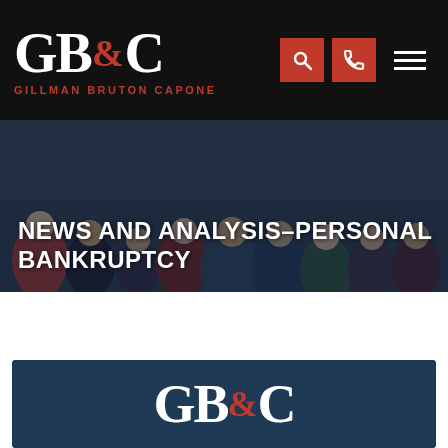[Figure (logo): GBC Gillman Bruton Capone law firm logo in white and red on black background, with search and phone icon buttons and hamburger menu]
[Figure (photo): Group photo of law firm staff/attorneys posed together on dark background, used as hero banner]
NEWS AND ANALYSIS–PERSONAL BANKRUPTCY
[Figure (logo): GBC Gillman Bruton Capone logo in white and red on dark navy blue background, partial view at bottom of page]